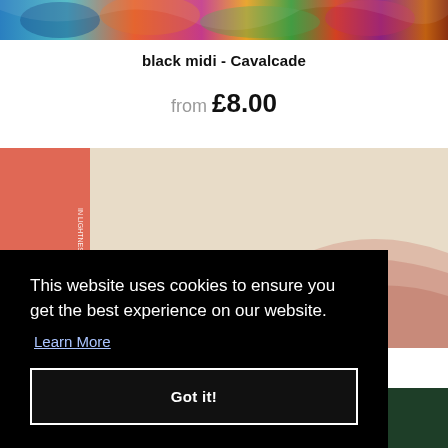[Figure (photo): Colorful abstract album art with blues, oranges, greens at top of page]
black midi - Cavalcade
from £8.00
[Figure (photo): Album cover art with pink/beige wavy landscape, salmon colored vertical band on left with white stylized letters, text reading 'LIGHTNESS' vertically]
This website uses cookies to ensure you get the best experience on our website. Learn More Got it!
[Figure (photo): Bottom partial album art with dark green tones and small portion of red/coral vertical band with white letter, partial text visible]